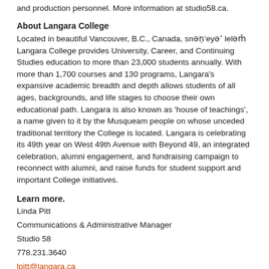and production personnel. More information at studio58.ca.
About Langara College
Located in beautiful Vancouver, B.C., Canada, snəw̓eyəɬ leləm̓ Langara College provides University, Career, and Continuing Studies education to more than 23,000 students annually. With more than 1,700 courses and 130 programs, Langara's expansive academic breadth and depth allows students of all ages, backgrounds, and life stages to choose their own educational path. Langara is also known as 'house of teachings', a name given to it by the Musqueam people on whose unceded traditional territory the College is located. Langara is celebrating its 49th year on West 49th Avenue with Beyond 49, an integrated celebration, alumni engagement, and fundraising campaign to reconnect with alumni, and raise funds for student support and important College initiatives.
Learn more.
Linda Pitt
Communications & Administrative Manager
Studio 58
778.231.3640
lpitt@langara.ca
Mark Dawson
Manager, Public Affairs
Langara College